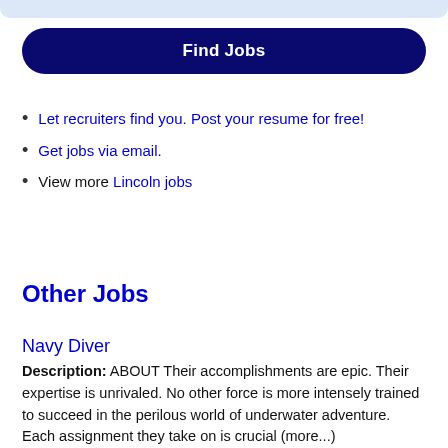[Figure (other): Light blue rounded top bar element at the top of the page]
Find Jobs
Let recruiters find you. Post your resume for free!
Get jobs via email.
View more Lincoln jobs
Other Jobs
Navy Diver
Description: ABOUT Their accomplishments are epic. Their expertise is unrivaled. No other force is more intensely trained to succeed in the perilous world of underwater adventure. Each assignment they take on is crucial (more...)